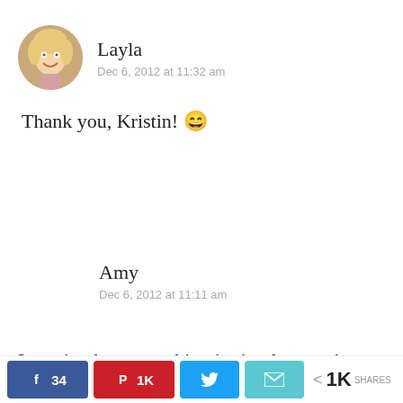[Figure (photo): Circular avatar photo of a blonde woman smiling]
Layla
Dec 6, 2012 at 11:32 am
Thank you, Kristin! 😄
Amy
Dec 6, 2012 at 11:11 am
Love it when something is simple, creative
[Figure (infographic): Social share bar with Facebook (34), Pinterest (1K), Twitter, Email share buttons and 1K SHARES total count]